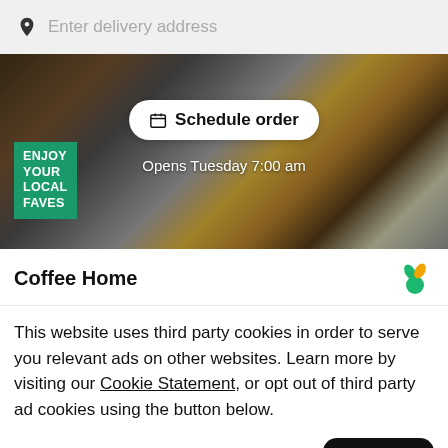Enter delivery address
[Figure (photo): Food delivery app hero image showing breakfast plates with eggs, bacon, salad and dishes on a dark table, with a green 'ENJOY YOUR LOCAL FAVES' badge on the left and a white 'Schedule order' pill button in the center, and 'Opens Tuesday 7:00 am' text below it]
Coffee Home
This website uses third party cookies in order to serve you relevant ads on other websites. Learn more by visiting our Cookie Statement, or opt out of third party ad cookies using the button below.
Opt out
Got it